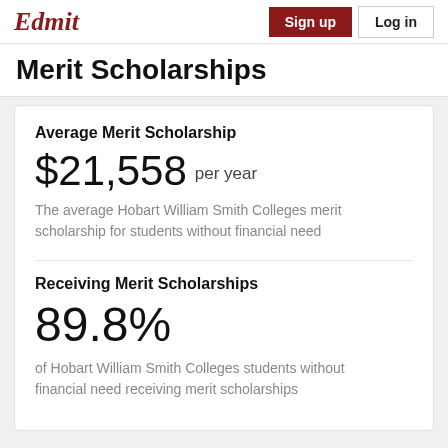Edmit | Sign up | Log in
Merit Scholarships
Average Merit Scholarship
$21,558 per year
The average Hobart William Smith Colleges merit scholarship for students without financial need
Receiving Merit Scholarships
89.8%
of Hobart William Smith Colleges students without financial need receiving merit scholarships